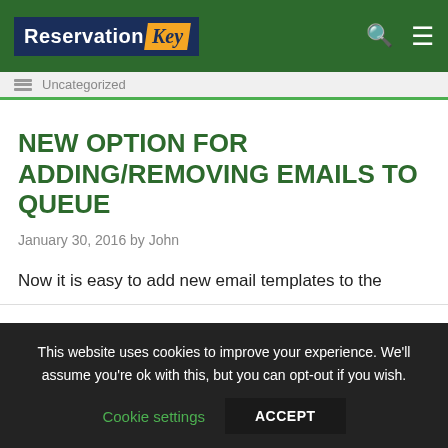Reservation Key
Uncategorized
NEW OPTION FOR ADDING/REMOVING EMAILS TO QUEUE
January 30, 2016 by John
Now it is easy to add new email templates to the
This website uses cookies to improve your experience. We'll assume you're ok with this, but you can opt-out if you wish. Cookie settings ACCEPT